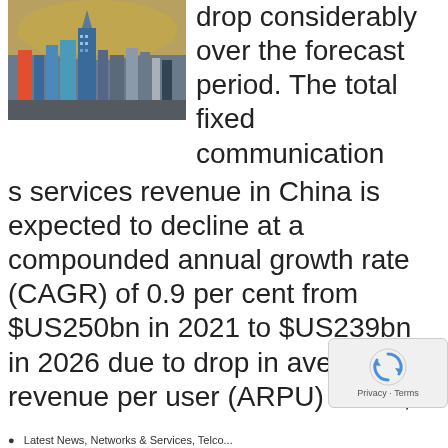[Figure (photo): Aerial view of Shanghai city skyline with skyscrapers and a river]
drop considerably over the forecast period. The total fixed communications services revenue in China is expected to decline at a compounded annual growth rate (CAGR) of 0.9 per cent from $US250bn in 2021 to $US239bn in 2026 due to drop in average revenue per user (ARPU) levels,...
Latest News, Networks & Services, Telco...